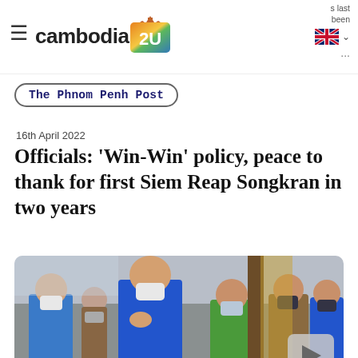cambodia 2U
The Phnom Penh Post
16th April 2022
Officials: 'Win-Win' policy, peace to thank for first Siem Reap Songkran in two years
[Figure (photo): Group of people wearing face masks outdoors, with a man in a blue shirt in the center appearing to greet someone, with a play button overlay on the right side]
Click image for full news story.
This year's joyful celebrations of Khmer New Year in Siem Reap after a two-year Covid-19 hiatus are...